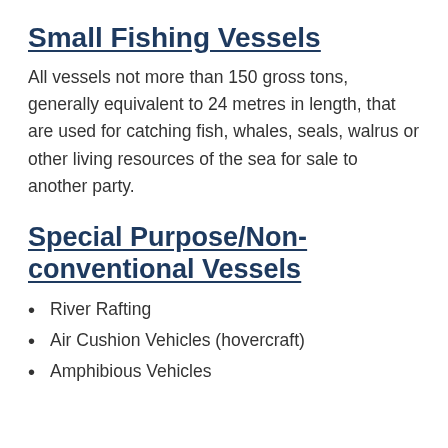Small Fishing Vessels
All vessels not more than 150 gross tons, generally equivalent to 24 metres in length, that are used for catching fish, whales, seals, walrus or other living resources of the sea for sale to another party.
Special Purpose/Non-conventional Vessels
River Rafting
Air Cushion Vehicles (hovercraft)
Amphibious Vehicles